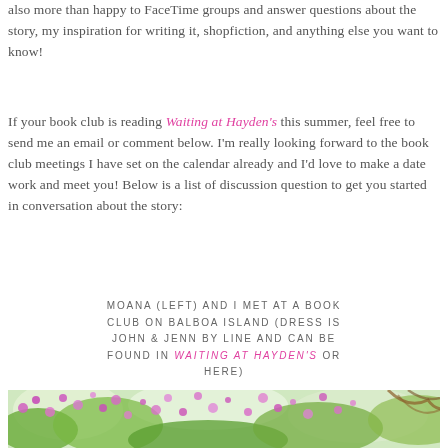also more than happy to FaceTime groups and answer questions about the story, my inspiration for writing it, shopfiction, and anything else you want to know!
If your book club is reading Waiting at Hayden's this summer, feel free to send me an email or comment below. I'm really looking forward to the book club meetings I have set on the calendar already and I'd love to make a date work and meet you! Below is a list of discussion question to get you started in conversation about the story:
MOANA (LEFT) AND I MET AT A BOOK CLUB ON BALBOA ISLAND (DRESS IS JOHN & JENN BY LINE AND CAN BE FOUND IN WAITING AT HAYDEN'S OR HERE)
[Figure (photo): A photo showing flowering trees with pink/purple blossoms and green foliage, partially visible at the bottom of the page.]